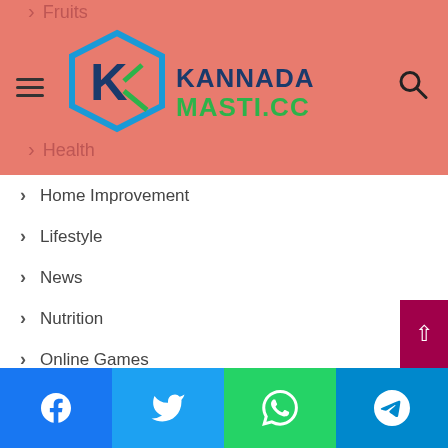[Figure (logo): Kannada Masti .cc logo with hexagonal K icon in blue/green and text]
Fruits
Health
Home Improvement
Lifestyle
News
Nutrition
Online Games
Pet
Photography
Product
Religion
Social Media
Sports